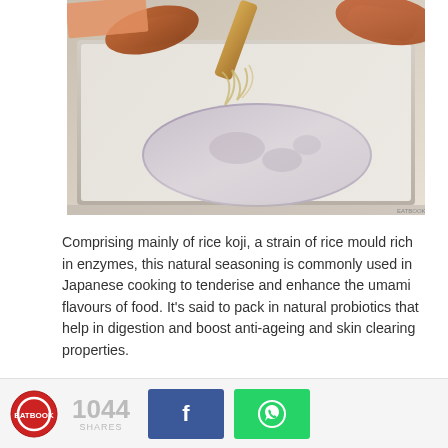[Figure (photo): Hands pressing or brushing dough/meat coated in white powdery flour/koji on a baking tray, food preparation scene]
Comprising mainly of rice koji, a strain of rice mould rich in enzymes, this natural seasoning is commonly used in Japanese cooking to tenderise and enhance the umami flavours of food. It's said to pack in natural probiotics that help in digestion and boost anti-ageing and skin clearing properties.
1044 SHARES